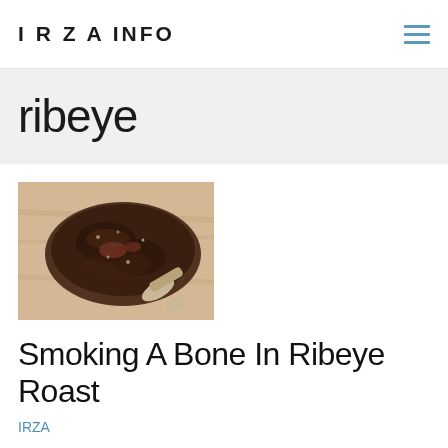I R Z A INFO
ribeye
[Figure (photo): A smoked bone-in ribeye roast on a wooden surface]
Smoking A Bone In Ribeye Roast
IRZA